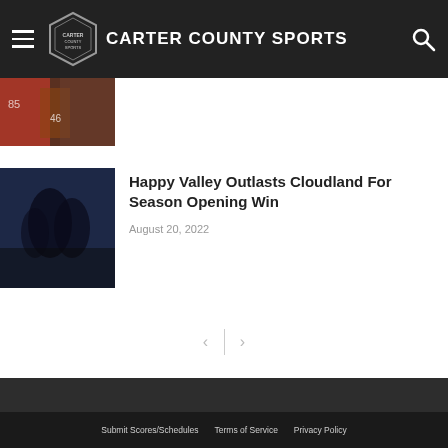Carter County Sports
[Figure (photo): Partially visible sports photo showing football players in maroon/gold uniforms]
[Figure (photo): Night football game photo showing players in dark uniforms running with the ball]
Happy Valley Outlasts Cloudland For Season Opening Win
August 20, 2022
Submit Scores/Schedules    Terms of Service    Privacy Policy